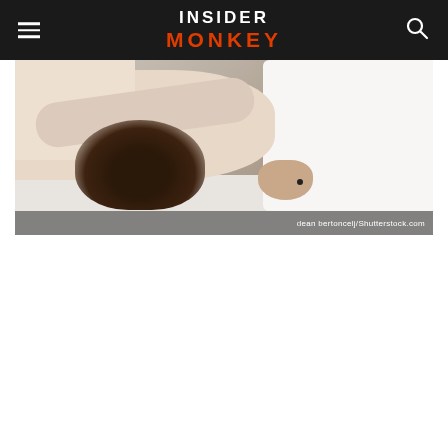Insider Monkey
[Figure (photo): A woman lying face down receiving a massage or stretching, with curly dark hair visible, wearing a white top, hands visible near her side. Image credit: dean bertoncelj/Shutterstock.com]
dean bertoncelj/Shutterstock.com